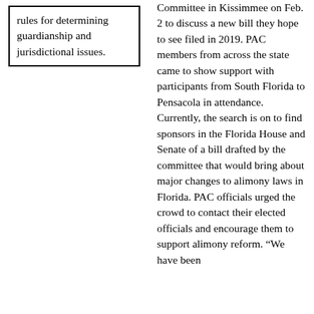rules for determining guardianship and jurisdictional issues.
Committee in Kissimmee on Feb. 2 to discuss a new bill they hope to see filed in 2019. PAC members from across the state came to show support with participants from South Florida to Pensacola in attendance. Currently, the search is on to find sponsors in the Florida House and Senate of a bill drafted by the committee that would bring about major changes to alimony laws in Florida. PAC officials urged the crowd to contact their elected officials and encourage them to support alimony reform. “We have been